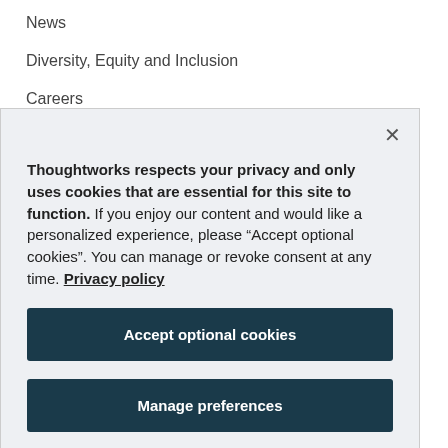News
Diversity, Equity and Inclusion
Careers
Thoughtworks respects your privacy and only uses cookies that are essential for this site to function. If you enjoy our content and would like a personalized experience, please “Accept optional cookies”. You can manage or revoke consent at any time. Privacy policy
Accept optional cookies
Manage preferences